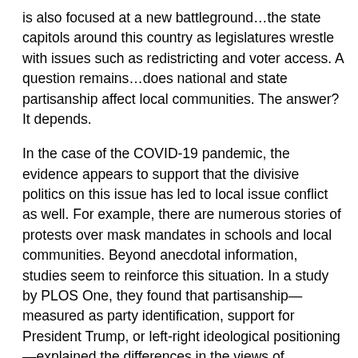is also focused at a new battleground…the state capitols around this country as legislatures wrestle with issues such as redistricting and voter access. A question remains…does national and state partisanship affect local communities. The answer? It depends.
In the case of the COVID-19 pandemic, the evidence appears to support that the divisive politics on this issue has led to local issue conflict as well. For example, there are numerous stories of protests over mask mandates in schools and local communities. Beyond anecdotal information, studies seem to reinforce this situation. In a study by PLOS One, they found that partisanship—measured as party identification, support for President Trump, or left-right ideological positioning—explained the differences in the views of Americans across a wide range of health behaviors and policy preferences. They found that these views were persistent, even when controlling for individual news consumption, the local policy environment, and local pandemic-related deaths.